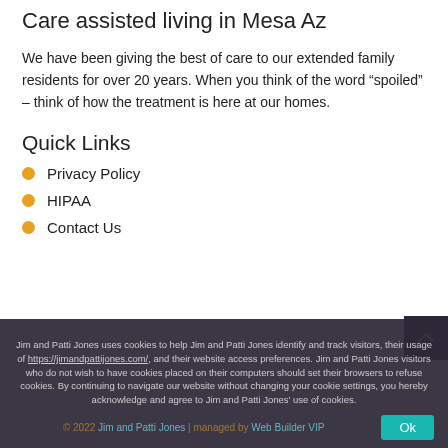Care assisted living in Mesa Az
We have been giving the best of care to our extended family residents for over 20 years. When you think of the word “spoiled” – think of how the treatment is here at our homes.
Quick Links
Privacy Policy
HIPAA
Contact Us
Jim and Patti Jones uses cookies to help Jim and Patti Jones identify and track visitors, their usage of https://jimandpattijones.com/, and their website access preferences. Jim and Patti Jones visitors who do not wish to have cookies placed on their computers should set their browsers to refuse cookies. By continuing to navigate our website without changing your cookie settings, you hereby acknowledge and agree to Jim and Patti Jones' use of cookies.
© 2022 Jim and Patti Jones | managed by Web Builder VIP